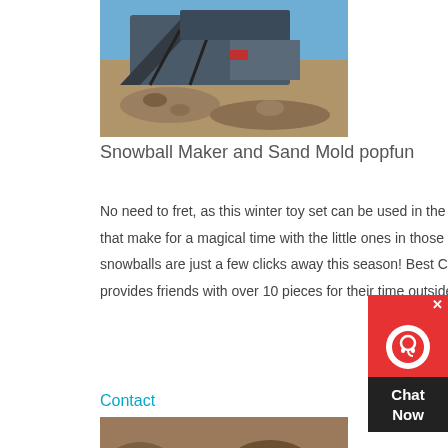[Figure (photo): Industrial machinery / sand crushing equipment at an outdoor worksite, with rocky terrain and equipment structures visible against a blue sky.]
Snowball Maker and Sand Mold popfun
No need to fret, as this winter toy set can be used in the sand just as well. Snow molds that make for a magical time with the little ones in those cold climates. The perfect snowballs are just a few clicks away this season! Best Collection:This snowball maker set provides friends with over 10 pieces for their time outside in a winter wonderland.
Contact
[Figure (photo): Outdoor rocky/rubble terrain with construction or excavation equipment partially visible, showing soil and rocks.]